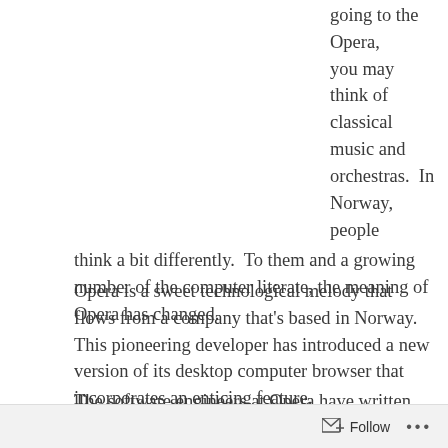going to the Opera, you may think of classical music and orchestras.  In Norway, people think a bit differently.  To them and a growing number of the computer literate, the meaning of Opera has changed.
Opera is a sweet technological melody that flows from a company that's based in Norway.  This pioneering developer has introduced a new version of its desktop computer browser that incorporates an enticing feature.
The software engineers at Opera have written their code, so it automatically blocks annoying spam and
Follow ···